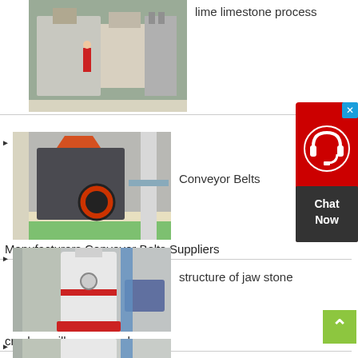[Figure (photo): Industrial machinery/mill equipment in a factory setting - lime limestone process]
lime limestone process
[Figure (photo): Impact crusher / industrial conveyor belt equipment in a factory]
Conveyor Belts
Manufacturers Conveyor Belts Suppliers
[Figure (photo): Large vertical grinding mill / cone crusher in industrial setting]
structure of jaw stone
crusher mills cone crusher
[Figure (photo): Partial view of industrial grinding mill equipment]
[Figure (other): Chat Now customer support widget with red background]